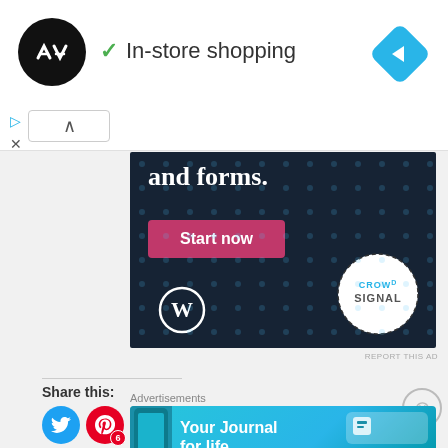[Figure (screenshot): App logo circle with infinity/loop icon on black background]
✓ In-store shopping
[Figure (logo): Blue diamond navigation icon with right-arrow]
[Figure (screenshot): Crowdsignal/WordPress advertisement banner on dark navy background with 'and forms.' text, Start now pink button, WordPress logo and Crowdsignal dashed-circle logo]
REPORT THIS AD
Share this:
[Figure (screenshot): Social share buttons: Twitter (blue), Pinterest (red with badge 6), Facebook (blue), Reddit (light blue), Email (grey), More button]
Advertisements
[Figure (screenshot): Day One app advertisement: 'Your Journal for life' on cyan/teal gradient background with phone mockup and Day One logo]